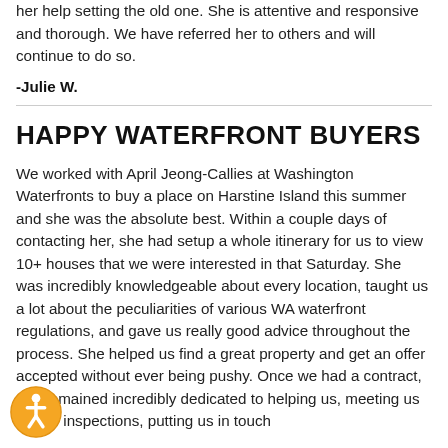her help setting the old one. She is attentive and responsive and thorough. We have referred her to others and will continue to do so.
-Julie W.
HAPPY WATERFRONT BUYERS
We worked with April Jeong-Callies at Washington Waterfronts to buy a place on Harstine Island this summer and she was the absolute best. Within a couple days of contacting her, she had setup a whole itinerary for us to view 10+ houses that we were interested in that Saturday. She was incredibly knowledgeable about every location, taught us a lot about the peculiarities of various WA waterfront regulations, and gave us really good advice throughout the process. She helped us find a great property and get an offer accepted without ever being pushy. Once we had a contract, she remained incredibly dedicated to helping us, meeting us for the inspections, putting us in touch